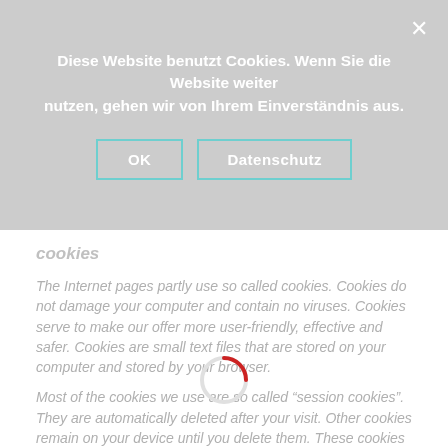Diese Website benutzt Cookies. Wenn Sie die Website weiter nutzen, gehen wir von Ihrem Einverständnis aus.
OK
Datenschutz
cookies
The Internet pages partly use so called cookies. Cookies do not damage your computer and contain no viruses. Cookies serve to make our offer more user-friendly, effective and safer. Cookies are small text files that are stored on your computer and stored by your browser.
Most of the cookies we use are so called "session cookies". They are automatically deleted after your visit. Other cookies remain on your device until you delete them. These cookies allow us to recognize your browser the next time you visit.